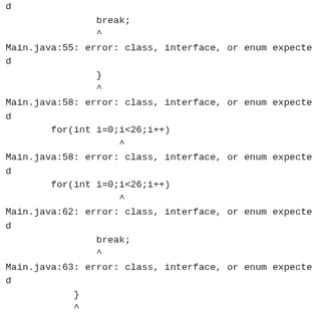d
                break;
                ^
Main.java:55: error: class, interface, or enum expected
d
}
                ^
Main.java:58: error: class, interface, or enum expected
d
for(int i=0;i<26;i++)
                    ^
Main.java:58: error: class, interface, or enum expected
d
for(int i=0;i<26;i++)
                    ^
Main.java:62: error: class, interface, or enum expected
d
break;
                ^
Main.java:63: error: class, interface, or enum expected
d
}
            ^